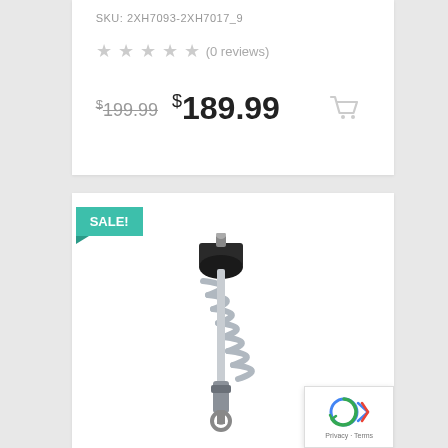SKU: 2XH7093-2XH7017_9
★★★★★ (0 reviews)
$199.99  $189.99
[Figure (illustration): Shopping cart icon in light gray]
SALE!
[Figure (photo): A coilover shock absorber / strut assembly, silver spring with black top mount, shown diagonally on white background]
[Figure (other): Google reCAPTCHA badge with logo and Privacy/Terms links]